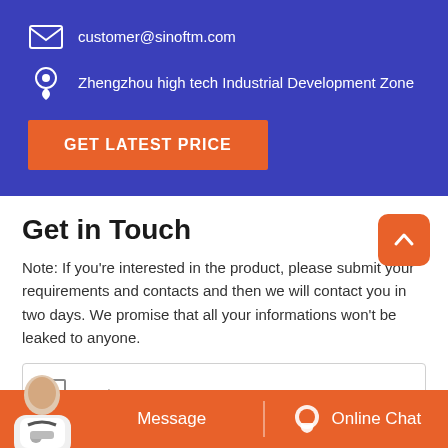customer@sinoftm.com
Zhengzhou high tech Industrial Development Zone
GET LATEST PRICE
Get in Touch
Note: If you're interested in the product, please submit your requirements and contacts and then we will contact you in two days. We promise that all your informations won't be leaked to anyone.
Productname*
Message
Online Chat